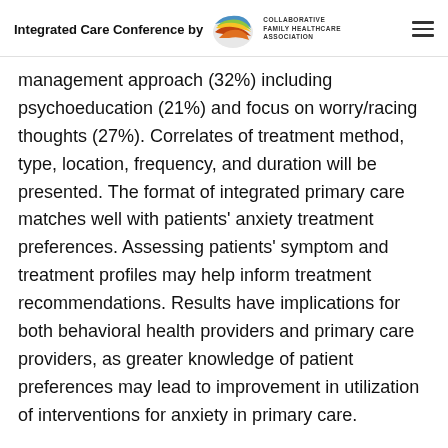Integrated Care Conference by CFHA Collaborative Family Healthcare Association
management approach (32%) including psychoeducation (21%) and focus on worry/racing thoughts (27%). Correlates of treatment method, type, location, frequency, and duration will be presented. The format of integrated primary care matches well with patients' anxiety treatment preferences. Assessing patients' symptom and treatment profiles may help inform treatment recommendations. Results have implications for both behavioral health providers and primary care providers, as greater knowledge of patient preferences may lead to improvement in utilization of interventions for anxiety in primary care.
Objectives